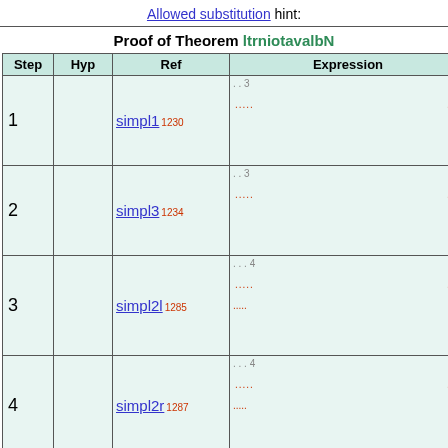Allowed substitution hint:
Proof of Theorem ltrniotavalbN
| Step | Hyp | Ref | Expression |
| --- | --- | --- | --- |
| 1 |  | simpl1 1230 | ..3 ..... ..... |
| 2 |  | simpl3 1234 | ..3 ..... ..... |
| 3 |  | simpl2l 1285 | ...4 ..... ..... |
| 4 |  | simpl2r 1287 | ...4 ..... ..... |
| 5 |  | ltrniotavalb.l | ....5 ..... |
| 6 |  | ltrniotavalb.a | ....5 |